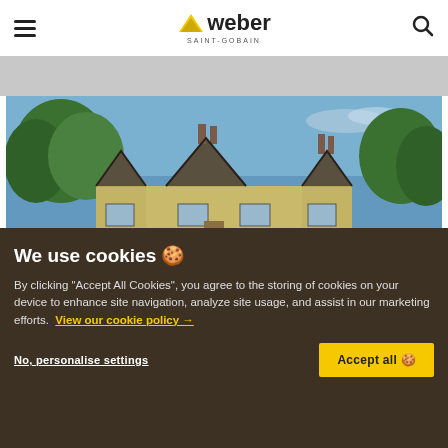weber SAINT-GOBAIN
[Figure (photo): A traditional British house with decorative gabled roof, tile cladding, yellow/cream rendered walls, chimneys, and surrounding green trees under a blue sky.]
We use cookies 🍪
By clicking "Accept All Cookies", you agree to the storing of cookies on your device to enhance site navigation, analyze site usage, and assist in our marketing efforts.  View our cookie policy →
No, personalise settings
Accept all 🍪